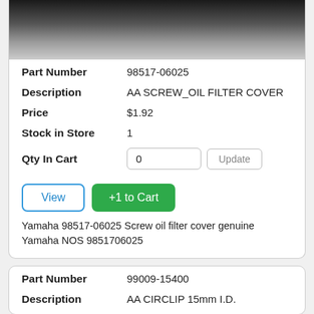[Figure (photo): Top portion of a product photo showing a close-up of a screw/metal part on dark background]
| Part Number | 98517-06025 |
| Description | AA SCREW_OIL FILTER COVER |
| Price | $1.92 |
| Stock in Store | 1 |
| Qty In Cart | 0 |
Yamaha 98517-06025 Screw oil filter cover genuine Yamaha NOS 9851706025
| Part Number | 99009-15400 |
| Description | AA CIRCLIP 15mm I.D. |